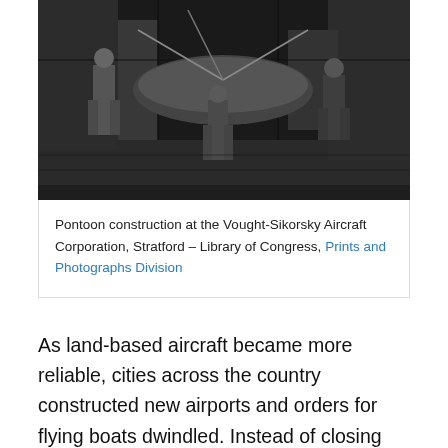[Figure (photo): Black and white photograph of workers doing pontoon construction at the Vought-Sikorsky Aircraft Corporation in Stratford. Several figures are visible in an industrial workshop setting.]
Pontoon construction at the Vought-Sikorsky Aircraft Corporation, Stratford – Library of Congress, Prints and Photographs Division
As land-based aircraft became more reliable, cities across the country constructed new airports and orders for flying boats dwindled. Instead of closing shop, Sikorsky returned to his long-held dream of vertical flight and began a third aviation career as a designer of helicopters. Although many had worked on the helicopter concept over the decades, none had